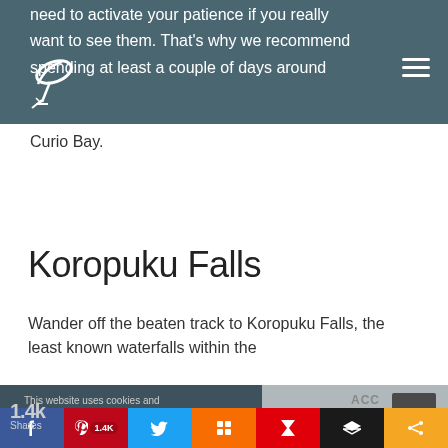need to activate your patience if you really want to see them. That's why we recommend spending at least a couple of days around Curio Bay.
Koropuku Falls
Wander off the beaten track to Koropuku Falls, the least known waterfalls within the
This website uses cookies and third party services. Settings ∨
1.4k Shares